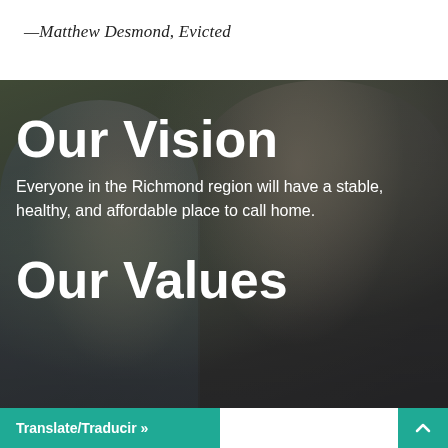—Matthew Desmond, Evicted
[Figure (photo): Background photo of multigenerational family group interacting outdoors, with a dark overlay. Overlaid with large white text for 'Our Vision' section heading, descriptive text, and 'Our Values' heading beginning to appear at bottom.]
Our Vision
Everyone in the Richmond region will have a stable, healthy, and affordable place to call home.
Our Values
Translate/Traducir »